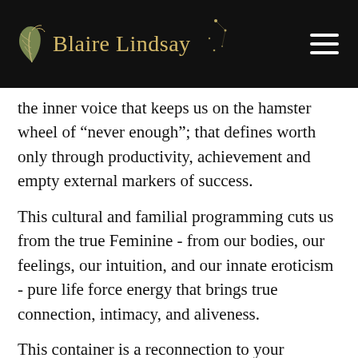Blaire Lindsay
the inner voice that keeps us on the hamster wheel of “never enough”; that defines worth only through productivity, achievement and empty external markers of success.
This cultural and familial programming cuts us from the true Feminine - from our bodies, our feelings, our intuition, and our innate eroticism - pure life force energy that brings true connection, intimacy, and aliveness.
This container is a reconnection to your